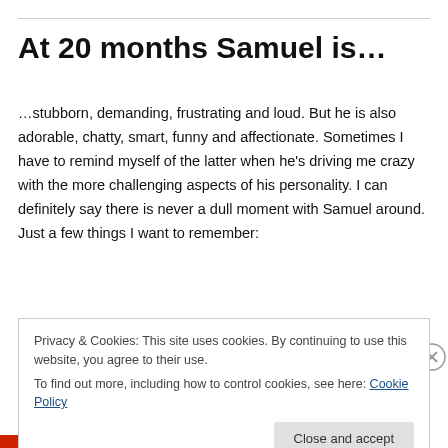At 20 months Samuel is…
…stubborn, demanding, frustrating and loud. But he is also adorable, chatty, smart, funny and affectionate. Sometimes I have to remind myself of the latter when he's driving me crazy with the more challenging aspects of his personality. I can definitely say there is never a dull moment with Samuel around. Just a few things I want to remember:
Privacy & Cookies: This site uses cookies. By continuing to use this website, you agree to their use.
To find out more, including how to control cookies, see here: Cookie Policy